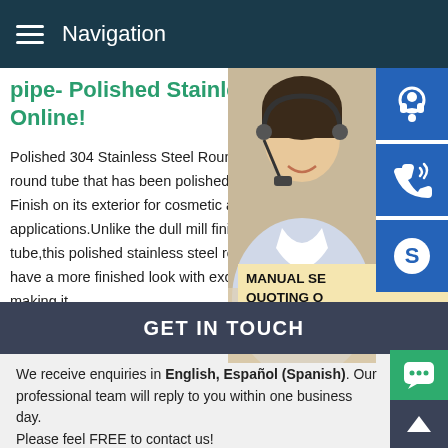Navigation
pipe- Polished Stainless Round Online!
Polished 304 Stainless Steel Round Tube round tube that has been polished to a 180 Finish on its exterior for cosmetic and ornamental applications.Unlike the dull mill finish of stainless tube,this polished stainless steel round tube have a more finished look with excellent corrosion resistance making it
[Figure (photo): Woman with headset, customer service representative photo]
MANUAL SERVICE QUOTING ONLINE Email: bsteel1@163.com
GET IN TOUCH
We receive enquiries in English, Español (Spanish). Our professional team will reply to you within one business day. Please feel FREE to contact us!